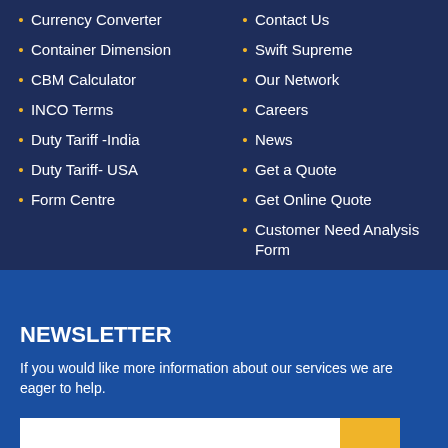Currency Converter
Container Dimension
CBM Calculator
INCO Terms
Duty Tariff -India
Duty Tariff- USA
Form Centre
Contact Us
Swift Supreme
Our Network
Careers
News
Get a Quote
Get Online Quote
Customer Need Analysis Form
NEWSLETTER
If you would like more information about our services we are eager to help.